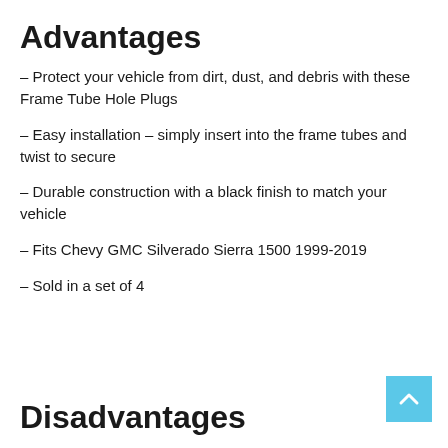Advantages
– Protect your vehicle from dirt, dust, and debris with these Frame Tube Hole Plugs
– Easy installation – simply insert into the frame tubes and twist to secure
– Durable construction with a black finish to match your vehicle
– Fits Chevy GMC Silverado Sierra 1500 1999-2019
– Sold in a set of 4
Disadvantages